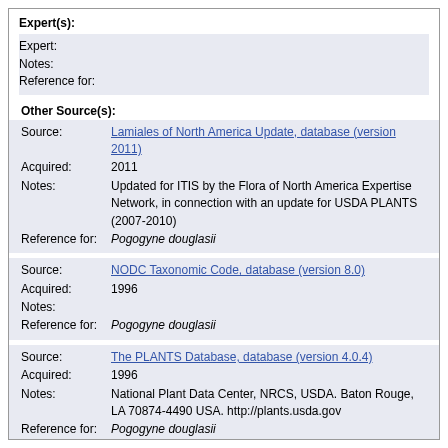Expert(s):
Expert:
Notes:
Reference for:
Other Source(s):
Source: Lamiales of North America Update, database (version 2011)
Acquired: 2011
Notes: Updated for ITIS by the Flora of North America Expertise Network, in connection with an update for USDA PLANTS (2007-2010)
Reference for: Pogogyne douglasii
Source: NODC Taxonomic Code, database (version 8.0)
Acquired: 1996
Notes:
Reference for: Pogogyne douglasii
Source: The PLANTS Database, database (version 4.0.4)
Acquired: 1996
Notes: National Plant Data Center, NRCS, USDA. Baton Rouge, LA 70874-4490 USA. http://plants.usda.gov
Reference for: Pogogyne douglasii
Source: The PLANTS Database, database (version 5.1.1)
Acquired: 2000
Notes: National Plant Data Center, NRCS, USDA. Baton Rouge, LA 70874-4490 USA. http://plants.usda.gov
Reference for: Pogogyne douglasii